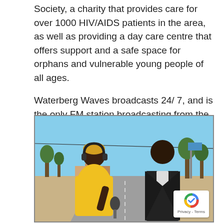Society, a charity that provides care for over 1000 HIV/AIDS patients in the area, as well as providing a day care centre that offers support and a safe space for orphans and vulnerable young people of all ages.
Waterberg Waves broadcasts 24/7, and is the only FM station broadcasting from the local area.
[Figure (photo): A woman in a yellow top wearing headphones holds a microphone toward a man in a black jacket. They are standing outdoors on a roadside in a sunny, rural setting with trees and buildings in the background. A reCAPTCHA badge is visible in the bottom-right corner.]